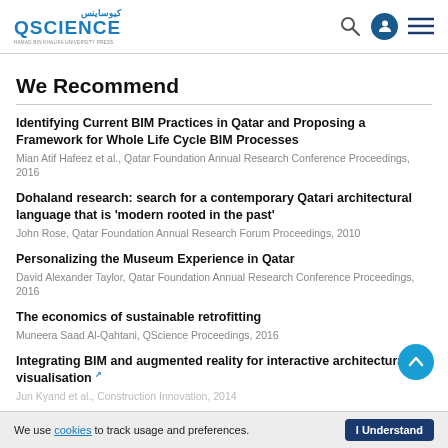QSCIENCE — QSience navigation header
We Recommend
Identifying Current BIM Practices in Qatar and Proposing a Framework for Whole Life Cycle BIM Processes
Mian Atif Hafeez et al., Qatar Foundation Annual Research Conference Proceedings, 2016
Dohaland research: search for a contemporary Qatari architectural language that is 'modern rooted in the past'
John Rose, Qatar Foundation Annual Research Forum Proceedings, 2010
Personalizing the Museum Experience in Qatar
David Alexander Taylor, Qatar Foundation Annual Research Conference Proceedings, 2016
The economics of sustainable retrofitting
Muneera Saad Al-Qahtani, QScience Proceedings, 2016
Integrating BIM and augmented reality for interactive architectural visualisation
Jun Kyand et al., Construction Innovation, 2014
We use cookies to track usage and preferences. I Understand